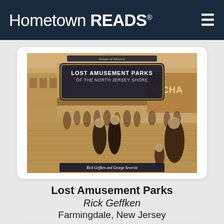Hometown READS®
[Figure (photo): Book cover of 'Lost Amusement Parks of the North Jersey Shore' by Rick Geffken and George Severini, part of the Images of America series. Shows a sepia-toned photograph of people walking on a boardwalk with shops. Published by Arcadia Publishing.]
Lost Amusement Parks
Rick Geffken
Farmingdale, New Jersey
[Figure (photo): Partial view of a second book cover with a blue background showing cursive script text.]